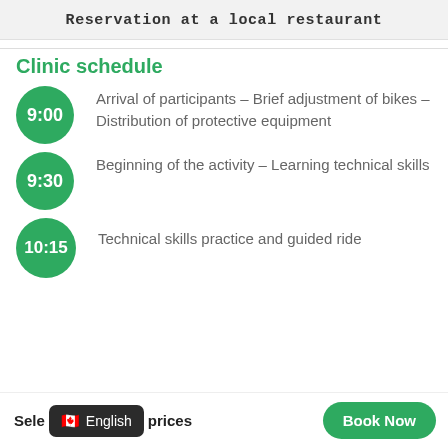Reservation at a local restaurant
Clinic schedule
9:00 – Arrival of participants – Brief adjustment of bikes – Distribution of protective equipment
9:30 – Beginning of the activity – Learning technical skills
10:15 – Technical skills practice and guided ride
Select prices
English
Book Now